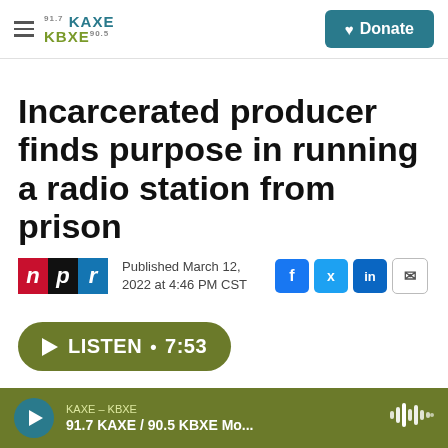[Figure (logo): KAXE KBXE 91.7/90.5 radio station logo with hamburger menu and Donate button]
Incarcerated producer finds purpose in running a radio station from prison
Published March 12, 2022 at 4:46 PM CST
[Figure (logo): NPR logo with n p r letters in red, black, blue blocks; social share buttons for Facebook, Twitter, LinkedIn, Email]
LISTEN • 7:53
KAXE – KBXE 91.7 KAXE / 90.5 KBXE Mo...